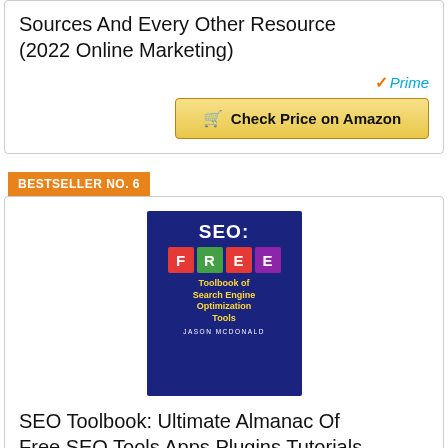Sources And Every Other Resource (2022 Online Marketing)
Check Price on Amazon
BESTSELLER NO. 6
[Figure (photo): Book cover: SEO: FREE Toolbook of Search Engine Optimization Tools by Jason McDonald, dark blue background with colorful letter blocks]
SEO Toolbook: Ultimate Almanac Of Free SEO Tools Apps Plugins Tutorials